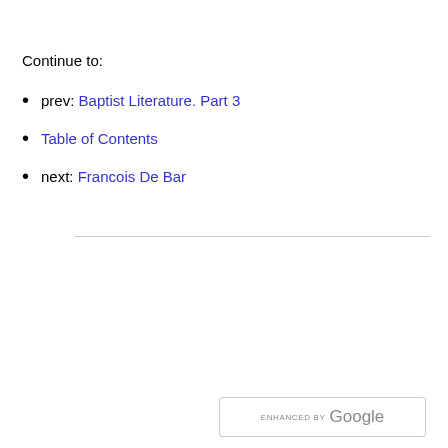Continue to:
prev: Baptist Literature. Part 3
Table of Contents
next: Francois De Bar
[Figure (other): Red plus button with an adjacent empty input text box]
[Figure (other): Enhanced by Google search bar]